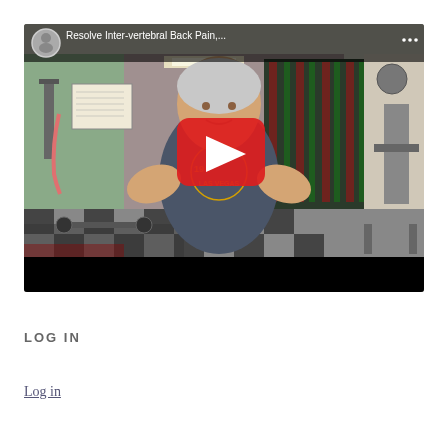[Figure (screenshot): YouTube video thumbnail/embed showing a man in a Las Vegas sleeveless shirt sitting in a gym. The video title reads 'Resolve Inter-vertebral Back Pain,...' with a YouTube channel avatar in the top-left corner. A large red play button is centered on the video. The bottom portion of the video player is black.]
LOG IN
Log in